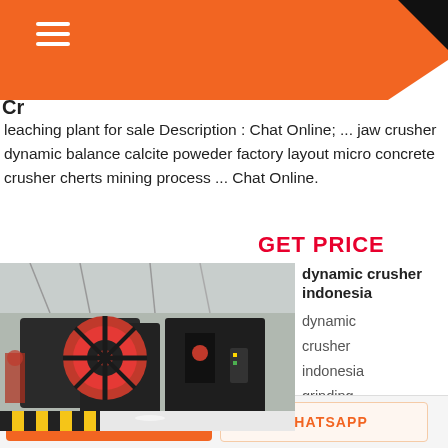Cr
leaching plant for sale Description : Chat Online; ... jaw crusher dynamic balance calcite poweder factory layout micro concrete crusher cherts mining process ... Chat Online.
GET PRICE
[Figure (photo): Industrial jaw crusher machine photographed inside a factory/warehouse. Large black and red machinery with a prominent red flywheel, positioned on a white gravel floor with yellow-black striped safety markings.]
dynamic crusher indonesia
dynamic
crusher
indonesia
grinding
mill
equipment
GET A QUOTE
WHATSAPP